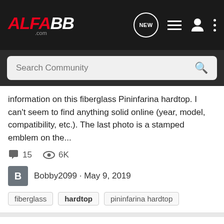ALFA88.com - navigation bar with logo, NEW icon, list icon, user icon, more icon
Search Community
information on this fiberglass Pininfarina hardtop. I can't seem to find anything solid online (year, model, compatibility, etc.). The last photo is a stamped emblem on the...
15 comments, 6K views
Bobby2099 · May 9, 2019
fiberglass  hardtop  pininfarina hardtop
For Sale Spider Hardtop
Alfa Romeo Parts For Sale & Wanted
Removable hardtop, in excellent condition. Comes with wheeled stand for storage. $500, plus shipping. Located in the South Bay area of southern California.
8 comments, 3K views